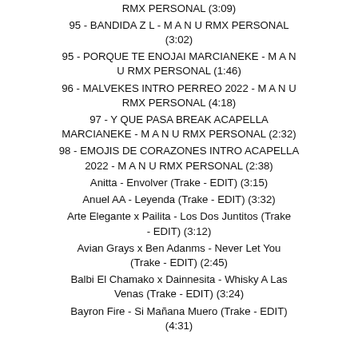RMX PERSONAL (3:09)
95 - BANDIDA Z L - M A N U RMX PERSONAL (3:02)
95 - PORQUE TE ENOJAI MARCIANEKE - M A N U RMX PERSONAL (1:46)
96 - MALVEKES INTRO PERREO 2022 - M A N U RMX PERSONAL (4:18)
97 - Y QUE PASA BREAK ACAPELLA MARCIANEKE - M A N U RMX PERSONAL (2:32)
98 - EMOJIS DE CORAZONES INTRO ACAPELLA 2022 - M A N U RMX PERSONAL (2:38)
Anitta - Envolver (Trake - EDIT) (3:15)
Anuel AA - Leyenda (Trake - EDIT) (3:32)
Arte Elegante x Pailita - Los Dos Juntitos (Trake - EDIT) (3:12)
Avian Grays x Ben Adanms - Never Let You (Trake - EDIT) (2:45)
Balbi El Chamako x Dainnesita - Whisky A Las Venas (Trake - EDIT) (3:24)
Bayron Fire - Si Mañana Muero (Trake - EDIT) (4:31)